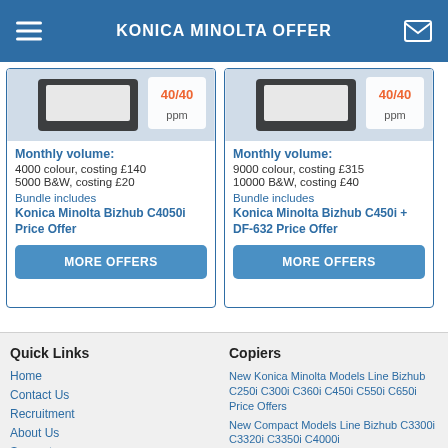KONICA MINOLTA OFFER
Monthly volume:
4000 colour, costing £140
5000 B&W, costing £20
Bundle includes
Konica Minolta Bizhub C4050i Price Offer
Monthly volume:
9000 colour, costing £315
10000 B&W, costing £40
Bundle includes
Konica Minolta Bizhub C450i + DF-632 Price Offer
Quick Links
Home
Contact Us
Recruitment
About Us
Support
Copiers
New Konica Minolta Models Line Bizhub C250i C300i C360i C450i C550i C650i Price Offers
New Compact Models Line Bizhub C3300i C3320i C3350i C4000i